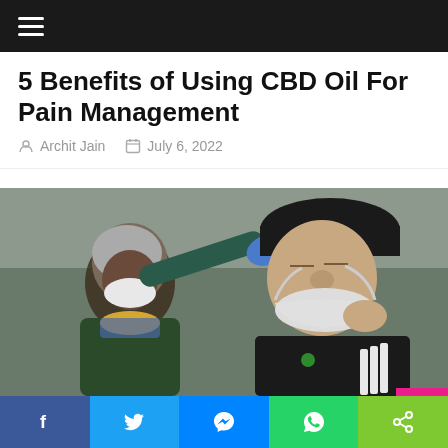≡
5 Benefits of Using CBD Oil For Pain Management
Archit Jain   July 6, 2022
[Figure (photo): A healthcare worker wearing a mask and blue gloves performs a nasal swab test on a young man wearing a black cap and Adidas sweatshirt who has pulled down his face mask.]
[Figure (infographic): Social sharing bar with Facebook, Twitter, Messenger, WhatsApp, and share buttons]